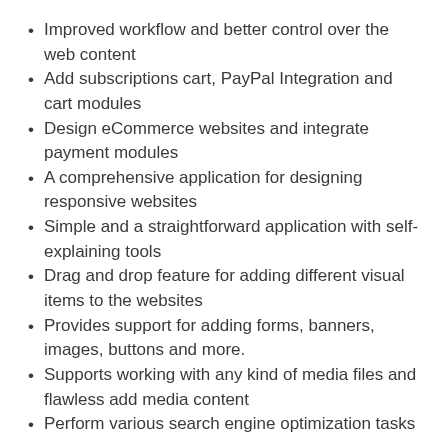Improved workflow and better control over the web content
Add subscriptions cart, PayPal Integration and cart modules
Design eCommerce websites and integrate payment modules
A comprehensive application for designing responsive websites
Simple and a straightforward application with self-explaining tools
Drag and drop feature for adding different visual items to the websites
Provides support for adding forms, banners, images, buttons and more.
Supports working with any kind of media files and flawless add media content
Perform various search engine optimization tasks